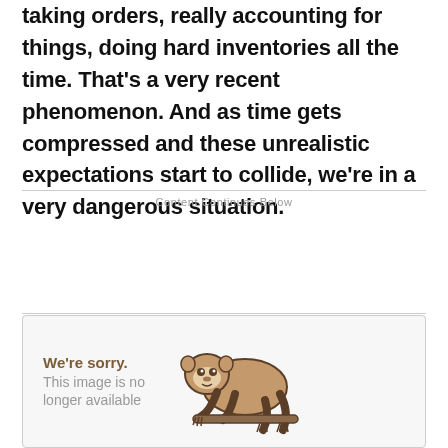taking orders, really accounting for things, doing hard inventories all the time. That's a very recent phenomenon. And as time gets compressed and these unrealistic expectations start to collide, we're in a very dangerous situation.
Content Continues Below
[Figure (illustration): Image placeholder with a sloth illustration and text 'We're sorry. This image is no longer available']